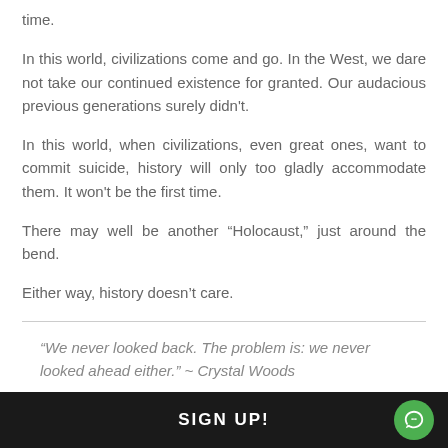time.
In this world, civilizations come and go. In the West, we dare not take our continued existence for granted. Our audacious previous generations surely didn't.
In this world, when civilizations, even great ones, want to commit suicide, history will only too gladly accommodate them. It won't be the first time.
There may well be another “Holocaust,” just around the bend.
Either way, history doesn’t care.
“We never looked back. The problem is: we never looked ahead either.” ~ Crystal Woods
SIGN UP!